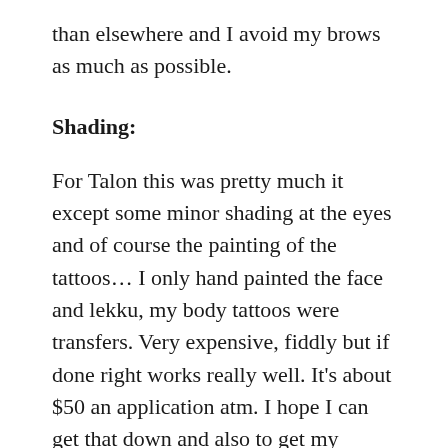than elsewhere and I avoid my brows as much as possible.
Shading:
For Talon this was pretty much it except some minor shading at the eyes and of course the painting of the tattoos… I only hand painted the face and lekku, my body tattoos were transfers. Very expensive, fiddly but if done right works really well. It's about $50 an application atm. I hope I can get that down and also to get my tattoos a little more finetuned. I am not happy to share my graphics as I did use Jan's work so much on this. However I will ask her permission once they are actually okay to convert to PDF